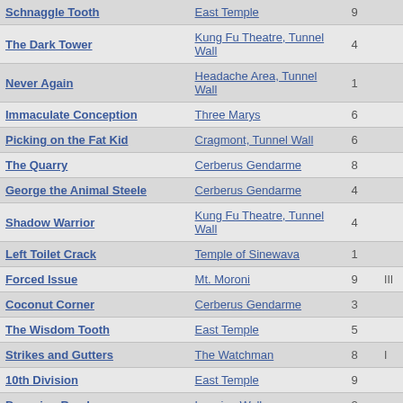| Route | Location | Stars |  |
| --- | --- | --- | --- |
| Schnaggle Tooth | East Temple | 9 |  |
| The Dark Tower | Kung Fu Theatre, Tunnel Wall | 4 |  |
| Never Again | Headache Area, Tunnel Wall | 1 |  |
| Immaculate Conception | Three Marys | 6 |  |
| Picking on the Fat Kid | Cragmont, Tunnel Wall | 6 |  |
| The Quarry | Cerberus Gendarme | 8 |  |
| George the Animal Steele | Cerberus Gendarme | 4 |  |
| Shadow Warrior | Kung Fu Theatre, Tunnel Wall | 4 |  |
| Left Toilet Crack | Temple of Sinewava | 1 |  |
| Forced Issue | Mt. Moroni | 9 | III |
| Coconut Corner | Cerberus Gendarme | 3 |  |
| The Wisdom Tooth | East Temple | 5 |  |
| Strikes and Gutters | The Watchman | 8 | I |
| 10th Division | East Temple | 9 |  |
| Dropping Bombs | Leaning Wall | 2 |  |
| The Greer | Mt. Allgood | 5 |  |